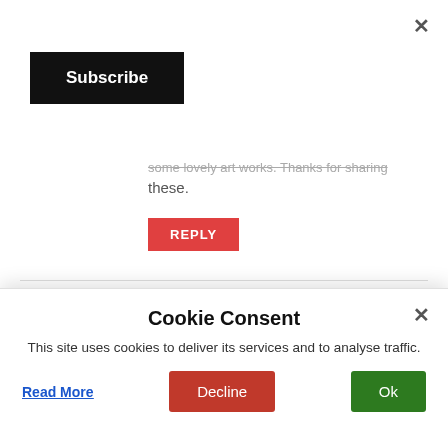×
Subscribe
some lovely art works. Thanks for sharing these.
REPLY
[Figure (illustration): Generic user avatar with warning/placeholder triangle icon]
Cecilia Jade February 9, 2019 at 9:45 PM
Wow, you convinced me. I want to go there just to see those sculptures especially the kinetic street art! I watched your video in
Cookie Consent
This site uses cookies to deliver its services and to analyse traffic.
Read More
Decline
Ok